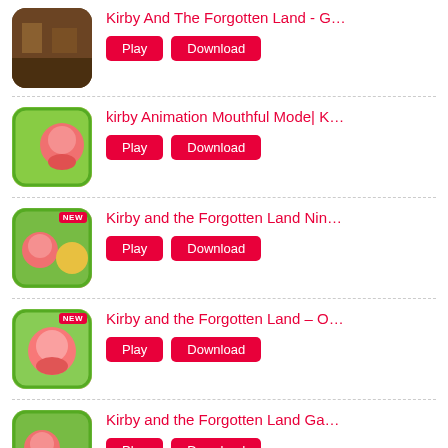Kirby And The Forgotten Land - Game Overview T...
kirby Animation Mouthful Mode| Kirby and The Fo...
Kirby and the Forgotten Land Nintendo Switch – D...
Kirby and the Forgotten Land – Overview trailer N...
Kirby and the Forgotten Land Gameplay Trailer | N...